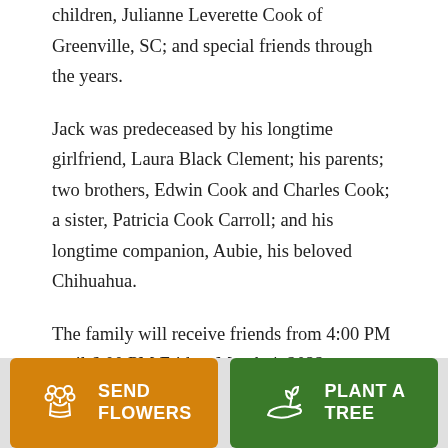children, Julianne Leverette Cook of Greenville, SC; and special friends through the years.
Jack was predeceased by his longtime girlfriend, Laura Black Clement; his parents; two brothers, Edwin Cook and Charles Cook; a sister, Patricia Cook Carroll; and his longtime companion, Aubie, his beloved Chihuahua.
The family will receive friends from 4:00 PM until 6:00 PM Friday, March 4, 2022 at Robinson Funeral
[Figure (other): Two buttons at the bottom: orange 'SEND FLOWERS' button with flower bouquet icon, and green 'PLANT A TREE' button with plant/hand icon]